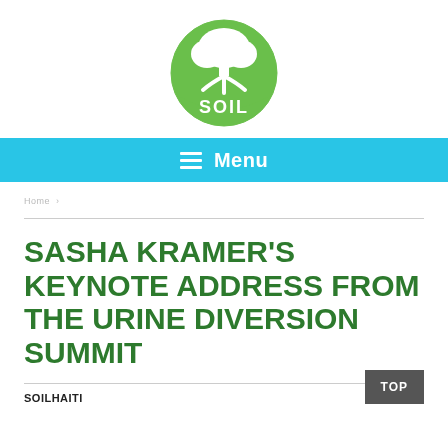[Figure (logo): SOIL organization logo: green circle with white tree and roots illustration, text 'SOIL' in white inside the circle]
[Figure (infographic): Cyan/light blue menu bar with hamburger icon (three white horizontal lines) and white text 'Menu']
breadcrumb navigation text (faint/illegible)
SASHA KRAMER'S KEYNOTE ADDRESS FROM THE URINE DIVERSION SUMMIT
SOILHAITI